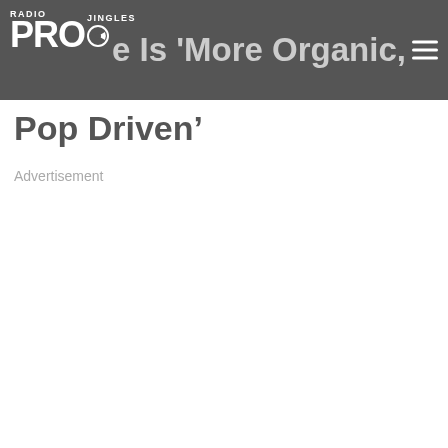RadioJingles PRO — e Is 'More Organic, More Pop Driven'
Pop Driven'
Advertisement